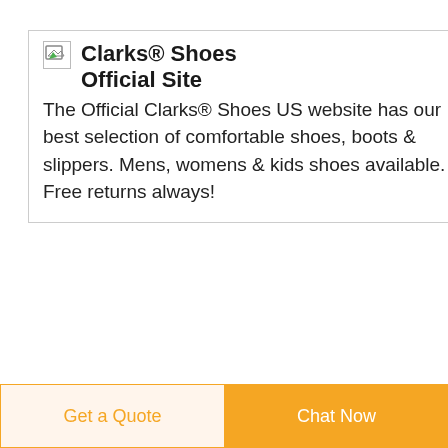[Figure (screenshot): Clarks Shoes ad card with broken image icon and bold title]
Clarks® Shoes Official Site
The Official Clarks® Shoes US website has our best selection of comfortable shoes, boots & slippers. Mens, womens & kids shoes available. Free returns always!
[Figure (logo): Blue square logo with white medical cross/star icon for Betty Mills]
Buy Medical Supplies Medical Equipment -- at Betty Mills
Find a large Selection of
[Figure (other): Dark blue circular scroll-to-top button with white upward arrow]
Get a Quote
Chat Now